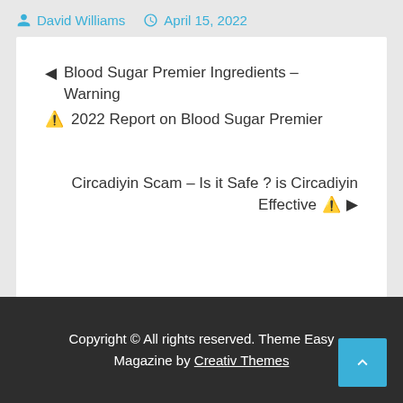David Williams   April 15, 2022
◄ Blood Sugar Premier Ingredients – Warning ⚠ 2022 Report on Blood Sugar Premier
Circadiyin Scam – Is it Safe ? is Circadiyin Effective ⚠ ►
Copyright © All rights reserved. Theme Easy Magazine by Creativ Themes